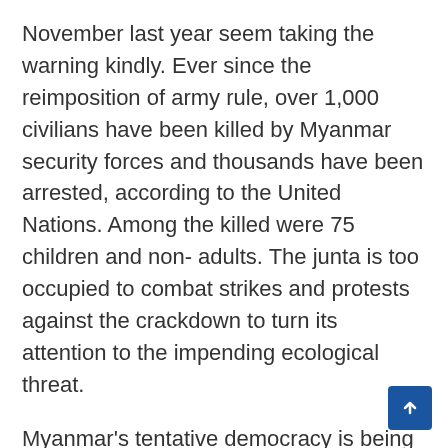November last year seem taking the warning kindly. Ever since the reimposition of army rule, over 1,000 civilians have been killed by Myanmar security forces and thousands have been arrested, according to the United Nations. Among the killed were 75 children and non- adults. The junta is too occupied to combat strikes and protests against the crackdown to turn its attention to the impending ecological threat.
Myanmar's tentative democracy is being internationally condemned frequently. The UN Special Rapporteur Tom Andrews tweeted keeping in mind the regional summit of ten ASEAN states between 26- 28 October : 'Here is the English version of my address to the UN